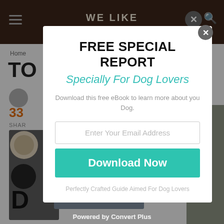[Figure (screenshot): Background website with brown navigation bar showing hamburger menu, WE LIKE logo, search and close icons. Below shows a website page with breadcrumb 'Home', large letters 'TO', user avatar, '33' in orange, 'SHARE' text, and partial photos.]
FREE SPECIAL REPORT
Specially For Dog Lovers
Download this free eBook to learn more about you Dog.
Enter Your Email Address
Download Now
Perfectly Crafted Guide Aimed For Dog Lovers
Powered by Convert Plus